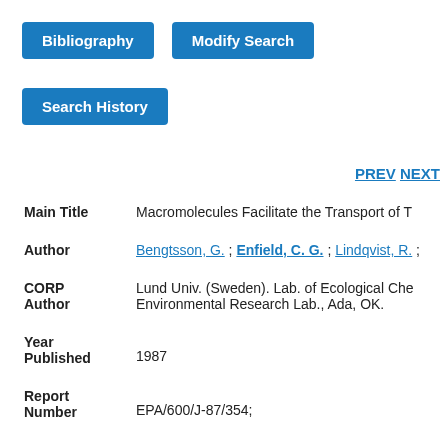[Figure (other): Blue button labeled 'Bibliography']
[Figure (other): Blue button labeled 'Modify Search']
[Figure (other): Blue button labeled 'Search History']
PREV NEXT
| Main Title | Macromolecules Facilitate the Transport of T |
| Author | Bengtsson, G. ; Enfield, C. G. ; Lindqvist, R. ; |
| CORP Author | Lund Univ. (Sweden). Lab. of Ecological Che… Environmental Research Lab., Ada, OK. |
| Year Published | 1987 |
| Report Number | EPA/600/J-87/354; |